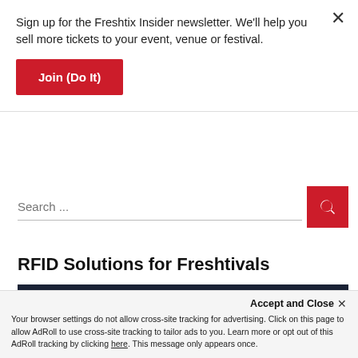Sign up for the Freshtix Insider newsletter. We'll help you sell more tickets to your event, venue or festival.
Join (Do It)
[Figure (screenshot): Search bar with red search button]
RFID Solutions for Freshtivals
from your connection. To continue, please confirm that youâre a human (and not a spambot).
Accept and Close ×
Your browser settings do not allow cross-site tracking for advertising. Click on this page to allow AdRoll to use cross-site tracking to tailor ads to you. Learn more or opt out of this AdRoll tracking by clicking here. This message only appears once.